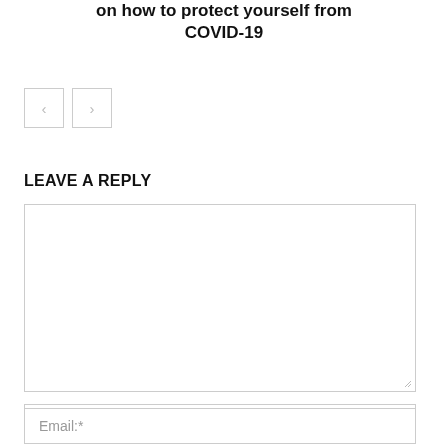on how to protect yourself from COVID-19
[Figure (other): Navigation buttons: left arrow and right arrow]
LEAVE A REPLY
Comment:
Name:*
Email:*